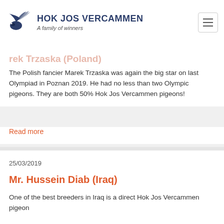HOK JOS VERCAMMEN – A family of winners
Trzaska (Poland)
The Polish fancier Marek Trzaska was again the big star on last Olympiad in Poznan 2019. He had no less than two Olympic pigeons. They are both 50% Hok Jos Vercammen pigeons!
Read more
25/03/2019
Mr. Hussein Diab (Iraq)
One of the best breeders in Iraq is a direct Hok Jos Vercammen pigeon
Read more